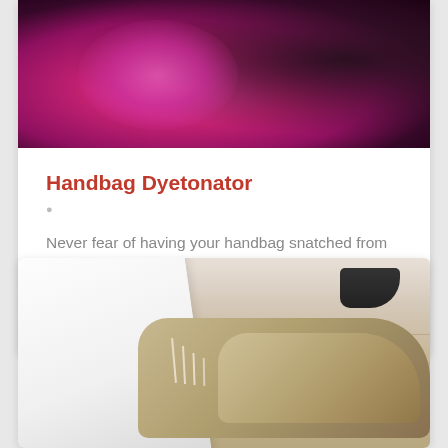[Figure (photo): Top portion of a card showing a pink/magenta smoke or fabric image with dark background, partially cropped at top]
Handbag Dyetonator
Never fear of having your handbag snatched from you again. Simply attach a Handbag Dyetonator to your bag and if it is ever taken from you, you can de…
[Figure (photo): Bottom card showing a pair of worn canvas sneakers/trainers on a wooden floor surface, with a white slanted panel on the left side]